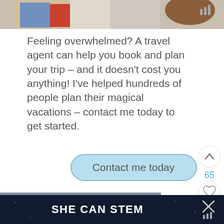[Figure (screenshot): Top portion of a mobile app screen showing a partial image strip at the top with a decorative/cartoon image and a signal/bars icon in the top right]
Feeling overwhelmed? A travel agent can help you book and plan your trip – and it doesn't cost you anything! I've helped hundreds of people plan their magical vacations – contact me today to get started.
[Figure (other): A rounded pill-shaped button with light blue background labeled 'Contact me today']
[Figure (other): Right side UI controls: upvote arrow button, vote count '65', heart/like button, and teal search button]
[Figure (photo): Photo of a woman with sunglasses smiling in front of what appears to be a Star Wars X-wing fighter at a theme park]
SHE CAN STEM
[Figure (other): Bottom dark banner with SHE CAN STEM text, X close button, and app logo with bars/degree symbol]